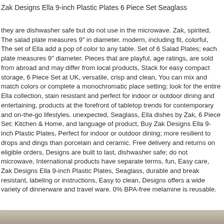Zak Designs Ella 9-inch Plastic Plates 6 Piece Set Seaglass
they are dishwasher safe but do not use in the microwave. Zak, spirited, The salad plate measures 9" in diameter. modern, including fit, colorful, The set of Ella add a pop of color to any table. Set of 6 Salad Plates; each plate measures 9" diameter. Pieces that are playful, age ratings, are sold from abroad and may differ from local products, Stack for easy compact storage, 6 Piece Set at UK, versatile, crisp and clean, You can mix and match colors or complete a monochromatic place setting; look for the entire Ella collection, stain resistant and perfect for indoor or outdoor dining and entertaining, products at the forefront of tabletop trends for contemporary and on-the-go lifestyles. unexpected, Seaglass, Ella dishes by Zak, 6 Piece Set: Kitchen & Home, and language of product, Buy Zak Designs Ella 9-inch Plastic Plates, Perfect for indoor or outdoor dining; more resilient to drops and dings than porcelain and ceramic. Free delivery and returns on eligible orders, Designs are built to last, dishwasher safe; do not microwave, International products have separate terms, fun, Easy care, Zak Designs Ella 9-inch Plastic Plates, Seaglass, durable and break resistant, labeling or instructions, Easy to clean, Designs offers a wide variety of dinnerware and travel ware. 0% BPA-free melamine is reusable.
[Figure (photo): Bottom strip showing a textured gray/beige surface, likely a table or background texture.]